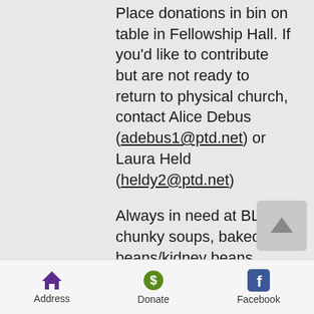Place donations in bin on table in Fellowship Hall. If you'd like to contribute but are not ready to return to physical church, contact Alice Debus (adebus1@ptd.net) or Laura Held (heldy2@ptd.net)
Always in need at BLP: chunky soups, baked beans/kidney beans, tuna/meat helper, non-sugared cereal, jelly (not grape), laundry detergent
If you would like to join our private CHC group please send a Facebook request. Click on FB link below.
Check out our Newsletter, Events and Outreach pages for more
Address   Donate   Facebook